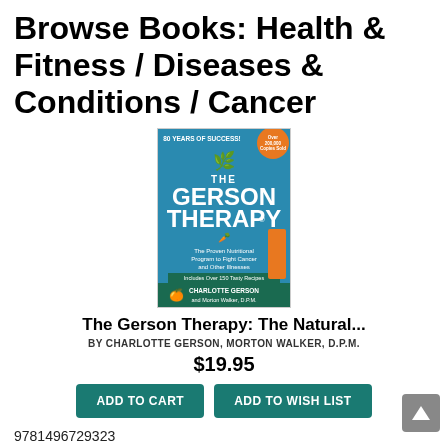Browse Books: Health & Fitness / Diseases & Conditions / Cancer
[Figure (photo): Book cover of The Gerson Therapy by Charlotte Gerson and Morton Walker, D.P.M. — shows title text, nutritional imagery, and subtitle 'The Proven Nutritional Program to Fight Cancer and Other Illnesses']
The Gerson Therapy: The Natural...
BY CHARLOTTE GERSON, MORTON WALKER, D.P.M.
$19.95
ADD TO CART
ADD TO WISH LIST
9781496729323
Not On Our Shelves—Ships in 1-5 Days